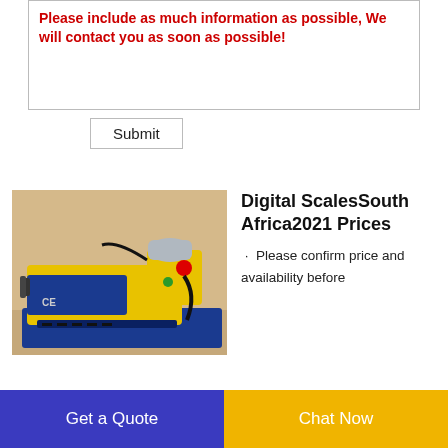Please include as much information as possible, We will contact you as soon as possible!
Submit
[Figure (photo): Yellow and blue industrial cable stripping/wire stripping machine with CE marking, motor on top, and blue base.]
Digital ScalesSouth Africa2021 Prices
Please confirm price and availability before
Get a Quote
Chat Now